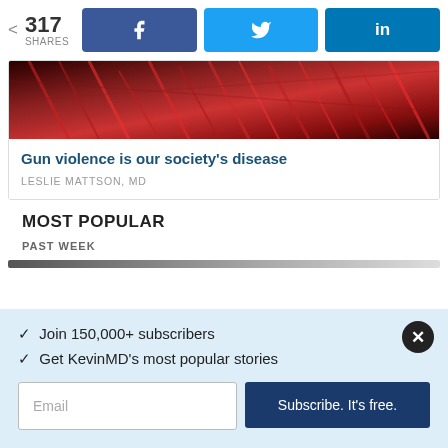317 SHARES
[Figure (photo): Dark red image, appears to show bullets or ammunition in a pile]
Gun violence is our society’s disease
LESLIE MATTSON, MD
MOST POPULAR
PAST WEEK
✓  Join 150,000+ subscribers
✓  Get KevinMD’s most popular stories
Email
Subscribe. It’s free.